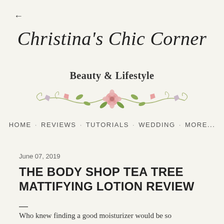←
Christina's Chic Corner
Beauty & Lifestyle
[Figure (illustration): Floral decorative divider with pink rose, small pink heart-shaped flowers, green leaves, and curling vines]
HOME · REVIEWS · TUTORIALS · WEDDING · MORE...
June 07, 2019
THE BODY SHOP TEA TREE MATTIFYING LOTION REVIEW
—
Who knew finding a good moisturizer would be so